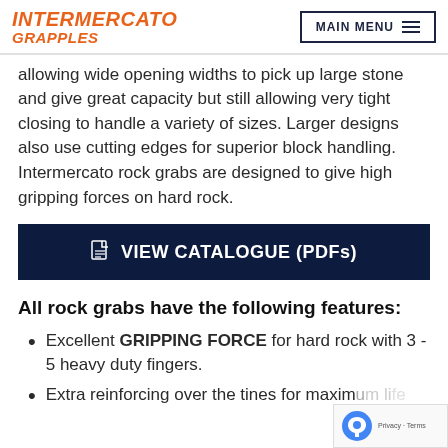INTERMERCATO GRAPPLES | MAIN MENU
allowing wide opening widths to pick up large stone and give great capacity but still allowing very tight closing to handle a variety of sizes. Larger designs also use cutting edges for superior block handling. Intermercato rock grabs are designed to give high gripping forces on hard rock.
VIEW CATALOGUE (PDFs)
All rock grabs have the following features:
Excellent GRIPPING FORCE for hard rock with 3 - 5 heavy duty fingers.
Extra reinforcing over the tines for maximum life